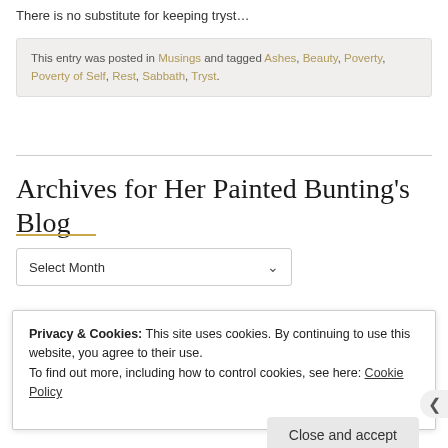There is no substitute for keeping tryst…
This entry was posted in Musings and tagged Ashes, Beauty, Poverty, Poverty of Self, Rest, Sabbath, Tryst.
Archives for Her Painted Bunting's Blog
Select Month
Privacy & Cookies: This site uses cookies. By continuing to use this website, you agree to their use.
To find out more, including how to control cookies, see here: Cookie Policy
Close and accept